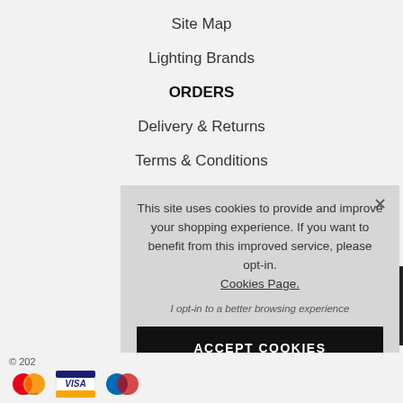Site Map
Lighting Brands
ORDERS
Delivery & Returns
Terms & Conditions
Warranty Info
WEEE Regulations
This site uses cookies to provide and improve your shopping experience. If you want to benefit from this improved service, please opt-in. Cookies Page.
I opt-in to a better browsing experience
ACCEPT COOKIES
© 202
[Figure (logo): Mastercard, Visa, Maestro payment icons]